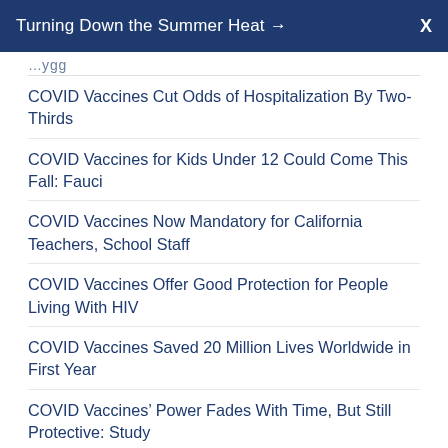Turning Down the Summer Heat →  X
COVID Vaccines Cut Odds of Hospitalization By Two-Thirds
COVID Vaccines for Kids Under 12 Could Come This Fall: Fauci
COVID Vaccines Now Mandatory for California Teachers, School Staff
COVID Vaccines Offer Good Protection for People Living With HIV
COVID Vaccines Saved 20 Million Lives Worldwide in First Year
COVID Vaccines' Power Fades With Time, But Still Protective: Study
COVID Variant Tied to Heart Inflammation in Cats, Dogs
COVID Virus' Incubation Time Gets Shorter With Each